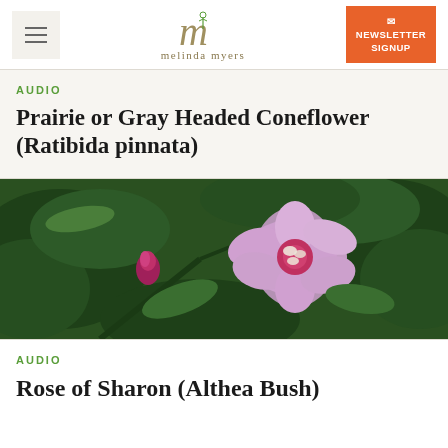melinda myers — navigation header with hamburger menu and newsletter signup button
AUDIO
Prairie or Gray Headed Coneflower (Ratibida pinnata)
[Figure (photo): Close-up photo of a Rose of Sharon (Althea Bush) flower in bloom — lavender/pink petals with a red and white center, surrounded by dark green serrated leaves and a magenta bud]
AUDIO
Rose of Sharon (Althea Bush)